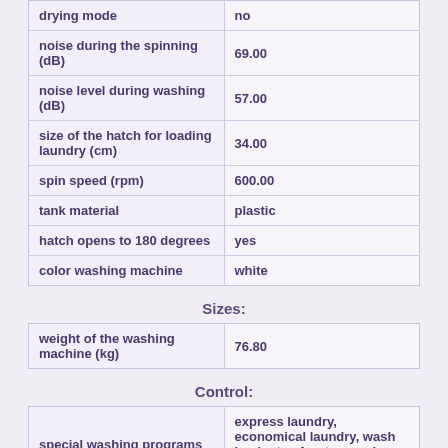| property | value |
| --- | --- |
| drying mode | no |
| noise during the spinning (dB) | 69.00 |
| noise level during washing (dB) | 57.00 |
| size of the hatch for loading laundry (cm) | 34.00 |
| spin speed (rpm) | 600.00 |
| tank material | plastic |
| hatch opens to 180 degrees | yes |
| color washing machine | white |
Sizes:
| property | value |
| --- | --- |
| weight of the washing machine (kg) | 76.80 |
Control:
| property | value |
| --- | --- |
| special washing programs | express laundry, economical laundry, wash in plenty of water, wash delicate fabrics |
| number of programs | 18 |
| timer | no |
| opersting the washing |  |